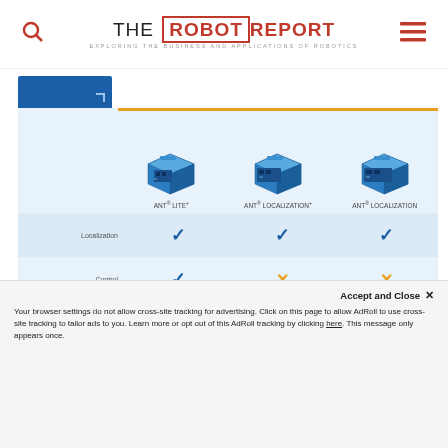THE ROBOT REPORT — EXPLORING THE BUSINESS AND APPLICATIONS OF ROBOTICS
[Figure (table-as-image): Comparison table of three ANT robot navigation products: ANT LITE+, ANT LOCALIZATION+, ANT LOCALIZATION, showing checkmarks and X marks for features: Localization, Control, Emulation of line following, Mission Management, Floor Management.]
Your browser settings do not allow cross-site tracking for advertising. Click on this page to allow AdRoll to use cross-site tracking to tailor ads to you. Learn more or opt out of this AdRoll tracking by clicking here. This message only appears once.